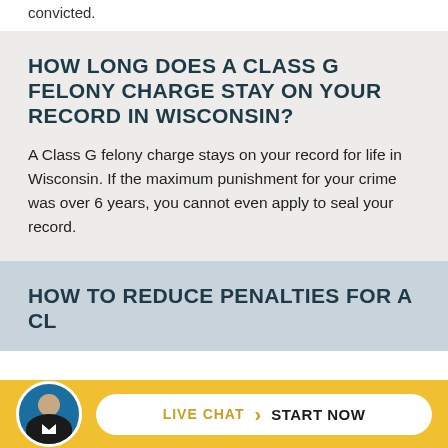convicted.
HOW LONG DOES A CLASS G FELONY CHARGE STAY ON YOUR RECORD IN WISCONSIN?
A Class G felony charge stays on your record for life in Wisconsin. If the maximum punishment for your crime was over 6 years, you cannot even apply to seal your record.
HOW TO REDUCE PENALTIES FOR A CL... F...
LIVE CHAT  START NOW